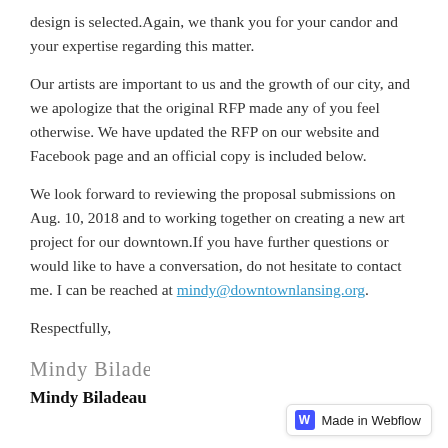design is selected.Again, we thank you for your candor and your expertise regarding this matter.
Our artists are important to us and the growth of our city, and we apologize that the original RFP made any of you feel otherwise. We have updated the RFP on our website and Facebook page and an official copy is included below.
We look forward to reviewing the proposal submissions on Aug. 10, 2018 and to working together on creating a new art project for our downtown.If you have further questions or would like to have a conversation, do not hesitate to contact me. I can be reached at mindy@downtownlansing.org.
Respectfully,
[Figure (illustration): Handwritten cursive signature reading Mindy Biladeau]
Mindy Biladeau